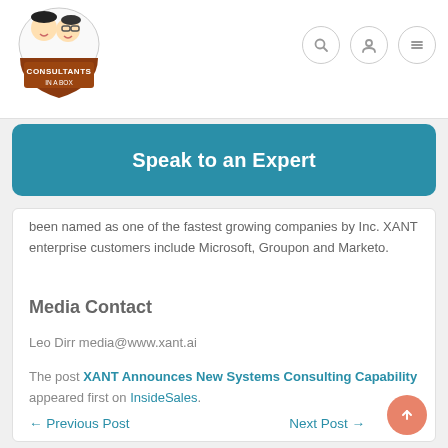[Figure (logo): Consultants In A Box logo with two cartoon characters and a shield/badge shape]
[Figure (other): Three circular nav icons: search (magnifying glass), user profile, and hamburger menu]
[Figure (other): Teal rounded rectangle CTA button with text 'Speak to an Expert']
been named as one of the fastest growing companies by Inc. XANT enterprise customers include Microsoft, Groupon and Marketo.
Media Contact
Leo Dirr media@www.xant.ai
The post XANT Announces New Systems Consulting Capability appeared first on InsideSales.
← Previous Post    Next Post →